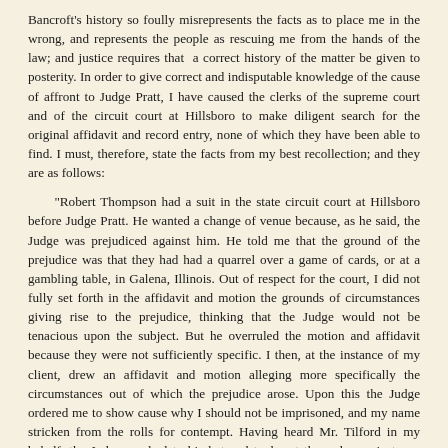Bancroft's history so foully misrepresents the facts as to place me in the wrong, and represents the people as rescuing me from the hands of the law; and justice requires that a correct history of the matter be given to posterity. In order to give correct and indisputable knowledge of the cause of affront to Judge Pratt, I have caused the clerks of the supreme court and of the circuit court at Hillsboro to make diligent search for the original affidavit and record entry, none of which they have been able to find. I must, therefore, state the facts from my best recollection; and they are as follows:
"Robert Thompson had a suit in the state circuit court at Hillsboro before Judge Pratt. He wanted a change of venue because, as he said, the Judge was prejudiced against him. He told me that the ground of the prejudice was that they had had a quarrel over a game of cards, or at a gambling table, in Galena, Illinois. Out of respect for the court, I did not fully set forth in the affidavit and motion the grounds of circumstances giving rise to the prejudice, thinking that the Judge would not be tenacious upon the subject. But he overruled the motion and affidavit because they were not sufficiently specific. I then, at the instance of my client, drew an affidavit and motion alleging more specifically the circumstances out of which the prejudice arose. Upon this the Judge ordered me to show cause why I should not be imprisoned, and my name stricken from the rolls for contempt. Having heard Mr. Tilford in my behalf, the Judge reached to his hat and took out the order against me, which he had drawn up before he came into court or heard my defence. The second affidavit - the one objected to - was made thus specific only because the Judge had ruled out the first because it was not specific. The Judge having directed the order against me to be entered, the court adjourned.
"The statement in Bancroft's history that the people aided me to escape is an unmitigated falsehood. While the Judge was deciding against me, I observed that